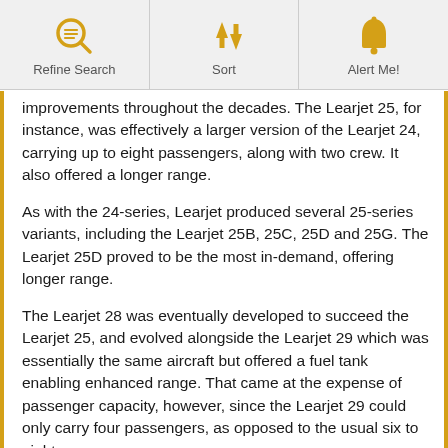Refine Search | Sort | Alert Me!
improvements throughout the decades. The Learjet 25, for instance, was effectively a larger version of the Learjet 24, carrying up to eight passengers, along with two crew. It also offered a longer range.
As with the 24-series, Learjet produced several 25-series variants, including the Learjet 25B, 25C, 25D and 25G. The Learjet 25D proved to be the most in-demand, offering longer range.
The Learjet 28 was eventually developed to succeed the Learjet 25, and evolved alongside the Learjet 29 which was essentially the same aircraft but offered a fuel tank enabling enhanced range. That came at the expense of passenger capacity, however, since the Learjet 29 could only carry four passengers, as opposed to the usual six to eight.
Next, the company produced the Learjet 35 and Learjet 36, which both offered greater ranges, and more fuel-efficient powerplants, along with more comfortable cabins. These were upgraded to the Learjet 35A and Learjet 36A, with each jet incorporating better engines, allowing for higher